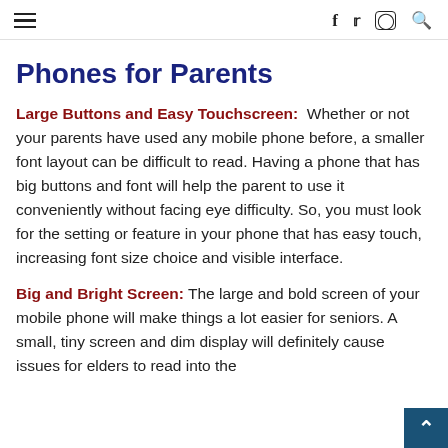≡   f  twitter  instagram  search
Phones for Parents
Large Buttons and Easy Touchscreen:  Whether or not your parents have used any mobile phone before, a smaller font layout can be difficult to read. Having a phone that has big buttons and font will help the parent to use it conveniently without facing eye difficulty. So, you must look for the setting or feature in your phone that has easy touch, increasing font size choice and visible interface.
Big and Bright Screen: The large and bold screen of your mobile phone will make things a lot easier for seniors. A small, tiny screen and dim display will definitely cause issues for elders to read into the